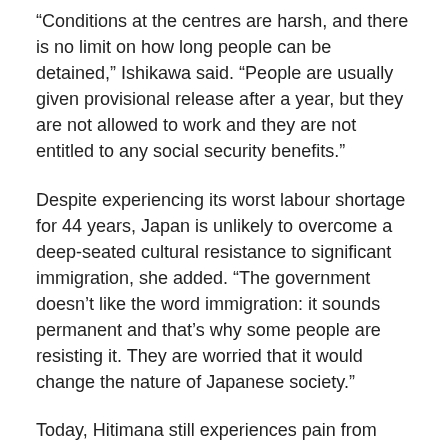“Conditions at the centres are harsh, and there is no limit on how long people can be detained,” Ishikawa said. “People are usually given provisional release after a year, but they are not allowed to work and they are not entitled to any social security benefits.”
Despite experiencing its worst labour shortage for 44 years, Japan is unlikely to overcome a deep-seated cultural resistance to significant immigration, she added. “The government doesn’t like the word immigration: it sounds permanent and that’s why some people are resisting it. They are worried that it would change the nature of Japanese society.”
Today, Hitimana still experiences pain from burns to his leg. He has not seen his parents or two sisters since he fled Burundi.
He arrived in Tokyo in January 2001 on a 90-day tourist